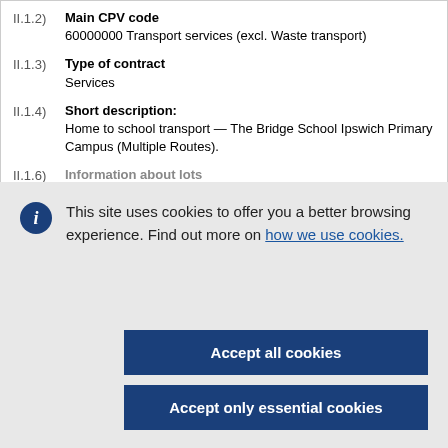II.1.2) Main CPV code
60000000 Transport services (excl. Waste transport)
II.1.3) Type of contract
Services
II.1.4) Short description:
Home to school transport — The Bridge School Ipswich Primary Campus (Multiple Routes).
II.1.6) Information about lots
This site uses cookies to offer you a better browsing experience. Find out more on how we use cookies.
Accept all cookies
Accept only essential cookies